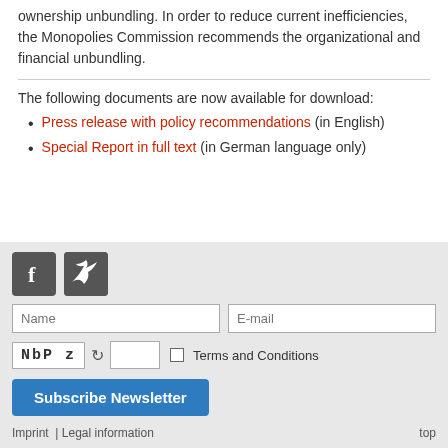ownership unbundling. In order to reduce current inefficiencies, the Monopolies Commission recommends the organizational and financial unbundling.
The following documents are now available for download:
Press release with policy recommendations (in English)
Special Report in full text (in German language only)
[Figure (screenshot): Newsletter subscription form with Facebook and Twitter social icons, name and email input fields, CAPTCHA (NbPz), Terms and Conditions checkbox, and Subscribe Newsletter button]
Imprint  | Legal information     top